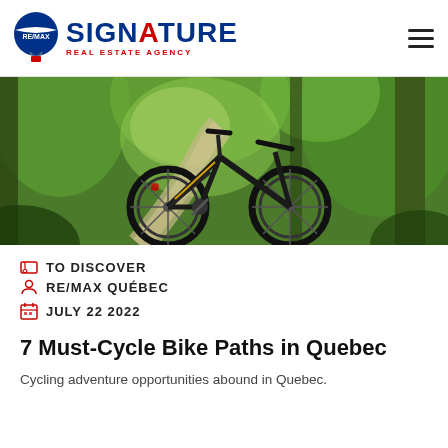RE/MAX SIGNATURE Real Estate Agency
[Figure (photo): A dark-colored mountain bike leaning on a tree along a green forest path]
TO DISCOVER
RE/MAX QUÉBEC
JULY 22 2022
7 Must-Cycle Bike Paths in Quebec
Cycling adventure opportunities abound in Quebec.